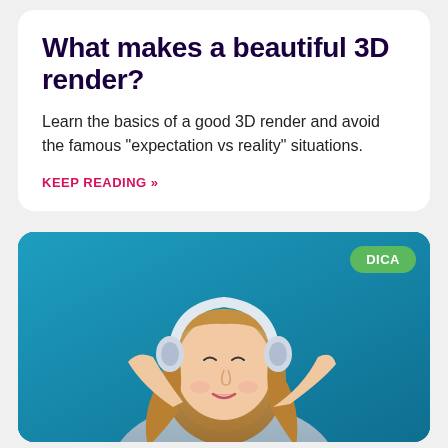What makes a beautiful 3D render?
Learn the basics of a good 3D render and avoid the famous “expectation vs reality” situations.
KEEP READING »
[Figure (photo): Young woman with long wavy hair wearing white headphones, eyes closed, smiling, on a teal/blue background. Green 'DICA' badge in top right corner.]